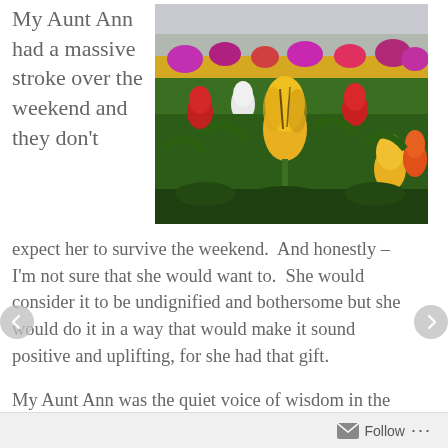My Aunt Ann had a massive stroke over the weekend and they don't expect her to survive the weekend.  And honestly – I'm not sure that she would want to.  She would consider it to be undignified and bothersome but she would do it in a way that would make it sound positive and uplifting, for she had that gift.
[Figure (photo): A colorful field of tulips in bloom, featuring yellow, red, pink, purple, and white tulips with green stems and leaves. A prominent yellow tulip stands in the foreground.]
My Aunt Ann was the quiet voice of wisdom in the darkest of times and words she spoke to comfort or